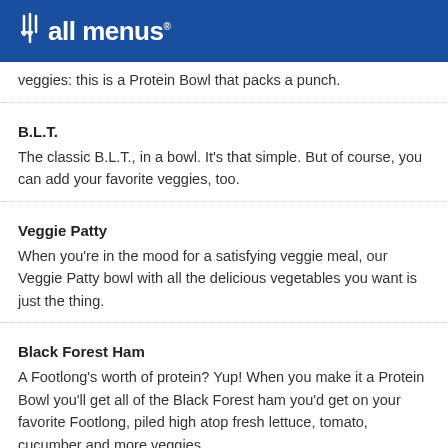allmenus
veggies: this is a Protein Bowl that packs a punch.
B.L.T.
The classic B.L.T., in a bowl. It's that simple. But of course, you can add your favorite veggies, too.
Veggie Patty
When you're in the mood for a satisfying veggie meal, our Veggie Patty bowl with all the delicious vegetables you want is just the thing.
Black Forest Ham
A Footlong's worth of protein? Yup! When you make it a Protein Bowl you'll get all of the Black Forest ham you'd get on your favorite Footlong, piled high atop fresh lettuce, tomato, cucumber and more veggies.
Meatball Marinara